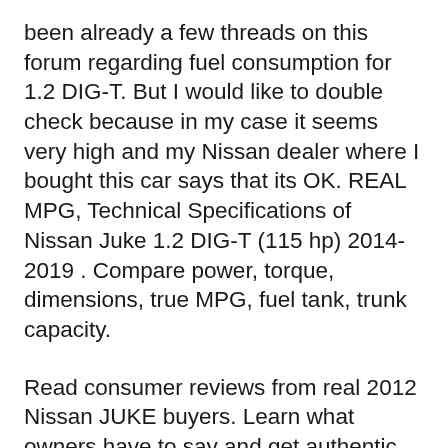been already a few threads on this forum regarding fuel consumption for 1.2 DIG-T. But I would like to double check because in my case it seems very high and my Nissan dealer where I bought this car says that its OK. REAL MPG, Technical Specifications of Nissan Juke 1.2 DIG-T (115 hp) 2014-2019 . Compare power, torque, dimensions, true MPG, fuel tank, trunk capacity.
Read consumer reviews from real 2012 Nissan JUKE buyers. Learn what owners have to say and get authentic consumer feedback before buying your next car. Fuel consumption, Technical Specs, Dimensions: Nissan Juke Hatchback 2010 2011 2012, 117 hp, 178 km/h, 6...